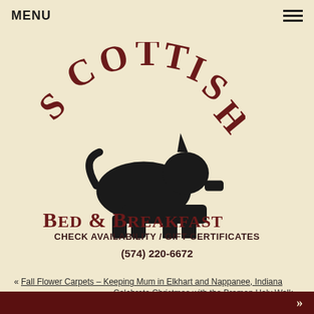MENU
[Figure (logo): Scottish Bed & Breakfast logo with arched SCOTTISH text, Scottish Terrier dog silhouette, and BED & BREAKFAST text below]
CHECK AVAILABILITY / GIFT CERTIFICATES
(574) 220-6672
« Fall Flower Carpets – Keeping Mum in Elkhart and Nappanee, Indiana
Celebrate Christmas with the Bremen Holy Walk »
Large Family Holiday at the Scottish Bed and Breakfast